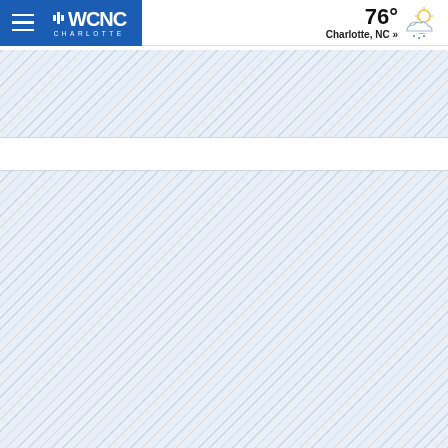WCNC Charlotte — 76° Charlotte, NC »
[Figure (screenshot): WCNC Charlotte news website screenshot showing navigation header with hamburger menu, WCNC Charlotte logo on blue background, weather widget showing 76° with cloud/sun icon and 'Charlotte, NC »', and two placeholder content areas with diagonal blue-grey hatching pattern indicating loading/ad zones.]